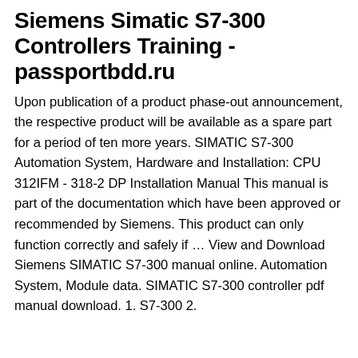Siemens Simatic S7-300 Controllers Training - passportbdd.ru
Upon publication of a product phase-out announcement, the respective product will be available as a spare part for a period of ten more years. SIMATIC S7-300 Automation System, Hardware and Installation: CPU 312IFM - 318-2 DP Installation Manual This manual is part of the documentation which have been approved or recommended by Siemens. This product can only function correctly and safely if … View and Download Siemens SIMATIC S7-300 manual online. Automation System, Module data. SIMATIC S7-300 controller pdf manual download. 1. S7-300 2.